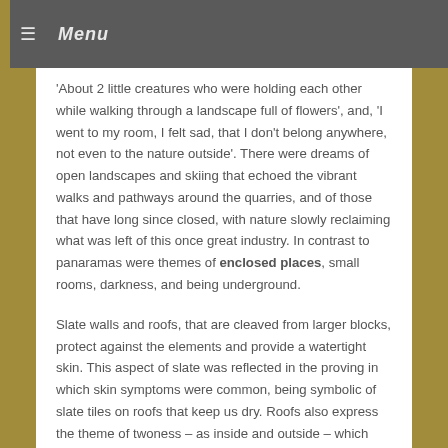≡ Menu
'About 2 little creatures who were holding each other while walking through a landscape full of flowers', and, 'I went to my room, I felt sad, that I don't belong anywhere, not even to the nature outside'. There were dreams of open landscapes and skiing that echoed the vibrant walks and pathways around the quarries, and of those that have long since closed, with nature slowly reclaiming what was left of this once great industry. In contrast to panaramas were themes of enclosed places, small rooms, darkness, and being underground.
Slate walls and roofs, that are cleaved from larger blocks, protect against the elements and provide a watertight skin. This aspect of slate was reflected in the proving in which skin symptoms were common, being symbolic of slate tiles on roofs that keep us dry. Roofs also express the theme of twoness – as inside and outside – which was represented in a dream, '... about inheriting a house that had belonged to an old man. Inside the house was very dirty and dilapidated.